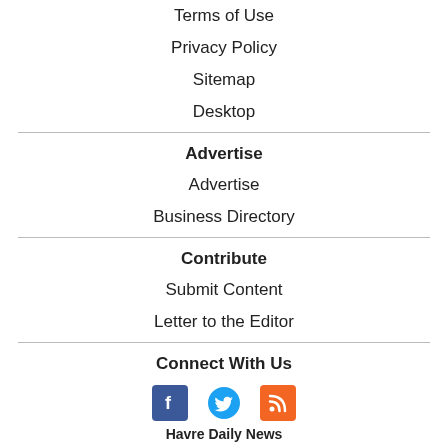Terms of Use
Privacy Policy
Sitemap
Desktop
Advertise
Advertise
Business Directory
Contribute
Submit Content
Letter to the Editor
Connect With Us
[Figure (illustration): Social media icons: Facebook, Twitter, RSS feed]
Havre Daily News